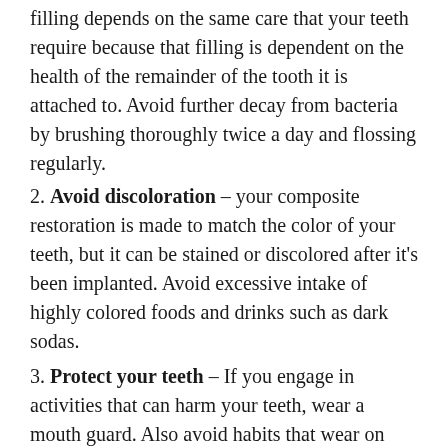filling depends on the same care that your teeth require because that filling is dependent on the health of the remainder of the tooth it is attached to. Avoid further decay from bacteria by brushing thoroughly twice a day and flossing regularly.
2. Avoid discoloration – your composite restoration is made to match the color of your teeth, but it can be stained or discolored after it's been implanted. Avoid excessive intake of highly colored foods and drinks such as dark sodas.
3. Protect your teeth – If you engage in activities that can harm your teeth, wear a mouth guard. Also avoid habits that wear on teeth such as chewing ice. If you have a habit of clenching your teeth, talk to your dentist about possible solutions.
4. Continue regular checkups – By visiting